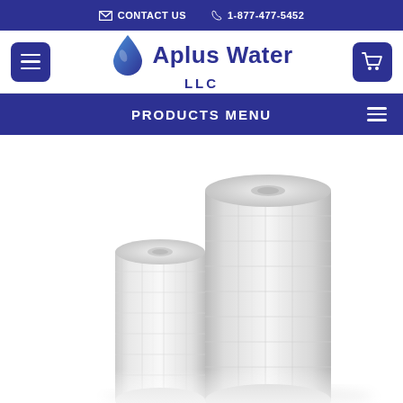CONTACT US  1-877-477-5452
[Figure (logo): Aplus Water LLC logo with water drop icon in blue]
PRODUCTS MENU
[Figure (photo): Two white cylindrical string-wound water filter cartridges of different heights on white background]